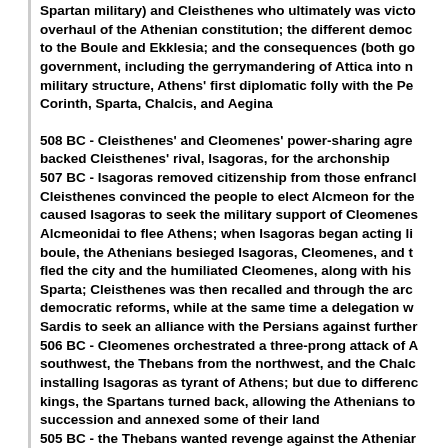Spartan military) and Cleisthenes who ultimately was victorious — overhaul of the Athenian constitution; the different democratic reforms to the Boule and Ekklesia; and the consequences (both good and bad) of government, including the gerrymandering of Attica into new tribes, the military structure, Athens' first diplomatic folly with the Persians, and Corinth, Sparta, Chalcis, and Aegina
508 BC - Cleisthenes' and Cleomenes' power-sharing agreement fell apart when backed Cleisthenes' rival, Isagoras, for the archonship 507 BC - Isagoras removed citizenship from those enfranchised by Cleisthenes; Cleisthenes convinced the people to elect Alcmeon for the archonship; this caused Isagoras to seek the military support of Cleomenes, who forced the Alcmeonidai to flee Athens; when Isagoras began acting like a tyrant, disbanded the boule, the Athenians besieged Isagoras, Cleomenes, and their supporters; they fled the city and the humiliated Cleomenes, along with his allies, returned to Sparta; Cleisthenes was then recalled and through the archons enacted democratic reforms, while at the same time a delegation was sent to the satrap at Sardis to seek an alliance with the Persians against further Spartan interference 506 BC - Cleomenes orchestrated a three-prong attack of Athens: from the Spartans southwest, the Thebans from the northwest, and the Chalcidians from the north, installing Isagoras as tyrant of Athens; but due to differences between the two kings, the Spartans turned back, allowing the Athenians to repulse the Thebans, succession and annexed some of their land 505 BC - the Thebans wanted revenge against the Athenians, so they invited Aegina, the arch-nemesis of Athens; the Aeginetans thus laid waste to Attica, but the Athenians didn't respond because at the behest of an oracle, and the war lasted thirty years